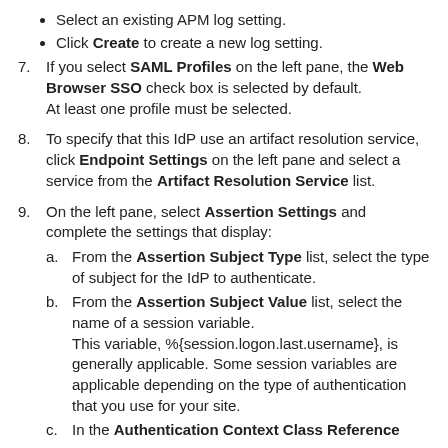Select an existing APM log setting.
Click Create to create a new log setting.
7. If you select SAML Profiles on the left pane, the Web Browser SSO check box is selected by default. At least one profile must be selected.
8. To specify that this IdP use an artifact resolution service, click Endpoint Settings on the left pane and select a service from the Artifact Resolution Service list.
9. On the left pane, select Assertion Settings and complete the settings that display:
a. From the Assertion Subject Type list, select the type of subject for the IdP to authenticate.
b. From the Assertion Subject Value list, select the name of a session variable. This variable, %{session.logon.last.username}, is generally applicable. Some session variables are applicable depending on the type of authentication that you use for your site.
c. In the Authentication Context Class Reference